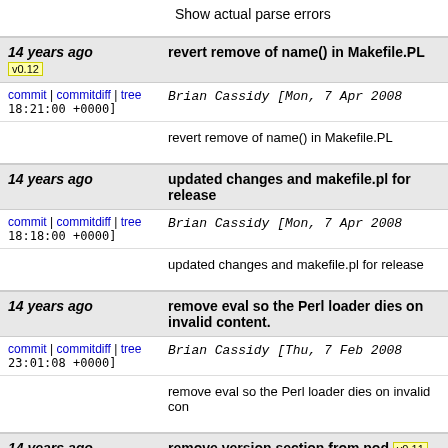Show actual parse errors
14 years ago
revert remove of name() in Makefile.PL
v0.12
commit | commitdiff | tree
Brian Cassidy [Mon, 7 Apr 2008 18:21:00 +0000]
revert remove of name() in Makefile.PL
14 years ago
updated changes and makefile.pl for release
commit | commitdiff | tree
Brian Cassidy [Mon, 7 Apr 2008 18:18:00 +0000]
updated changes and makefile.pl for release
14 years ago
remove eval so the Perl loader dies on invalid content.
commit | commitdiff | tree
Brian Cassidy [Thu, 7 Feb 2008 23:01:08 +0000]
remove eval so the Perl loader dies on invalid con
14 years ago
remove version section from pod
v0.11